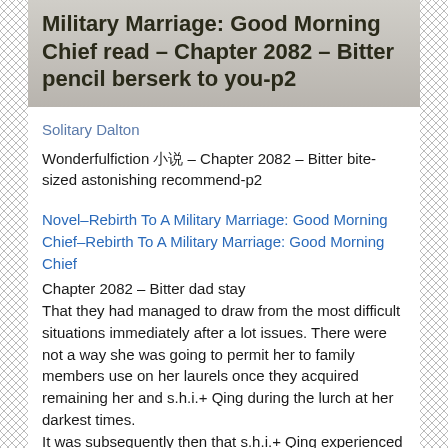Military Marriage: Good Morning Chief read – Chapter 2082 – Bitter pencil berserk to you-p2
Solitary Dalton
Wonderfulfiction 小说 – Chapter 2082 – Bitter bite-sized astonishing recommend-p2
Novel–Rebirth To A Military Marriage: Good Morning Chief–Rebirth To A Military Marriage: Good Morning Chief
Chapter 2082 – Bitter dad stay
That they had managed to draw from the most difficult situations immediately after a lot issues. There were not a way she was going to permit her to family members use on her laurels once they acquired remaining her and s.h.i.+ Qing during the lurch at her darkest times.
It was subsequently then that s.h.i.+ Qing experienced suddenly wanted to recruit during the army. Although s.h.i.+ spouse and children did not